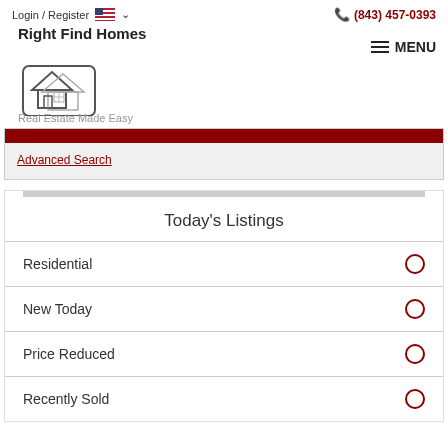Login / Register  🇺🇸 ∨    (843) 457-0393
[Figure (logo): Right Find Homes logo with house and speech bubble icon, tagline: Real Estate Made Easy]
Advanced Search
Today's Listings
Residential
New Today
Price Reduced
Recently Sold